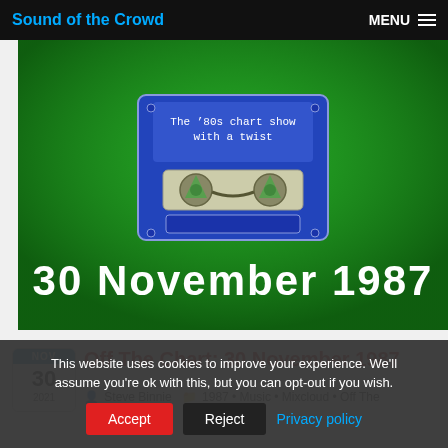Sound of the Crowd | MENU
[Figure (illustration): Blue cassette tape illustration on green background with text 'The ’80s chart show with a twist' and large white text '30 November 1987']
Off The Chart: 30 November 1987
Steve Binnie • 1987 • Music • Mixcloud • Off The Chart
NOV 30 2021
This website uses cookies to improve your experience. We'll assume you're ok with this, but you can opt-out if you wish.
Accept | Reject | Privacy policy